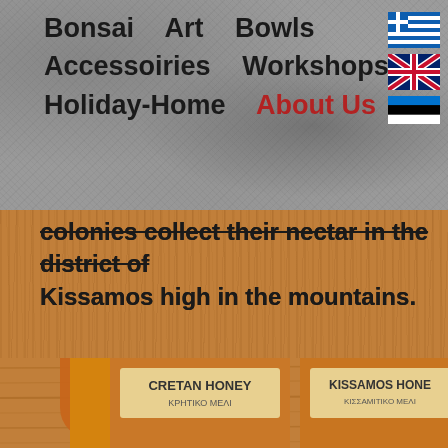Bonsai  Art  Bowls  Accessoiries  Workshops  Holiday-Home  About Us
colonies collect their nectar in the district of Kissamos high in the mountains.
[Figure (photo): Two jars of honey on a wooden surface - Cretan Honey (ΚΡΗΤΙΚΟ ΜΕΛΙ) and Kissamos Honey (ΚΙΣΣΑΜΙΤΙΚΟ ΜΕΛΙ) with bee cartoon logo, brand name Nikos]